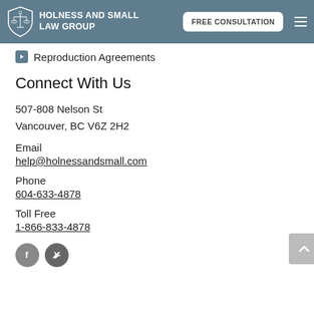HOLNESS AND SMALL LAW GROUP | FREE CONSULTATION
Reproduction Agreements
Connect With Us
507-808 Nelson St
Vancouver, BC V6Z 2H2
Email
help@holnessandsmall.com
Phone
604-633-4878
Toll Free
1-866-833-4878